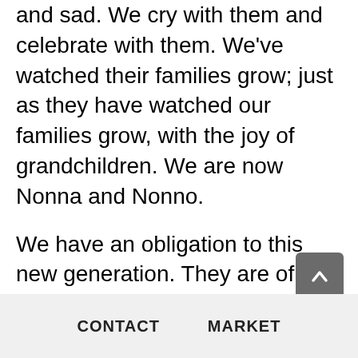and sad. We cry with them and celebrate with them. We've watched their families grow; just as they have watched our families grow, with the joy of grandchildren. We are now Nonna and Nonno.
We have an obligation to this new generation. They are of Italian descent.
We've taken many different roads in our life but in the end it has all come back to God, family and food.
Ciao,
Anita Sandroni Augello
CONTACT    MARKET